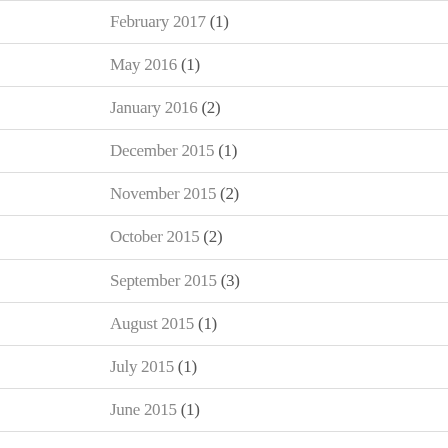February 2017 (1)
May 2016 (1)
January 2016 (2)
December 2015 (1)
November 2015 (2)
October 2015 (2)
September 2015 (3)
August 2015 (1)
July 2015 (1)
June 2015 (1)